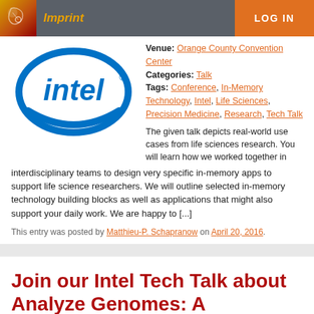Imprint | LOG IN
[Figure (logo): Intel logo - blue oval with intel text]
Venue: Orange County Convention Center
Categories: Talk
Tags: Conference, In-Memory Technology, Intel, Life Sciences, Precision Medicine, Research, Tech Talk
The given talk depicts real-world use cases from life sciences research. You will learn how we worked together in interdisciplinary teams to design very specific in-memory apps to support life science researchers. We will outline selected in-memory technology building blocks as well as applications that might also support your daily work. We are happy to [...]
This entry was posted by Matthieu-P. Schapranow on April 20, 2016.
Join our Intel Tech Talk about Analyze Genomes: A Federated In-Memory Database Computing